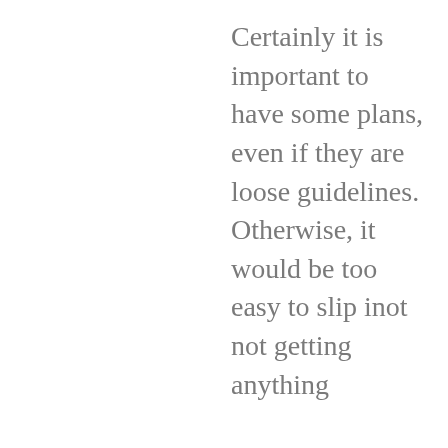Certainly it is important to have some plans, even if they are loose guidelines. Otherwise, it would be too easy to slip inot not getting anything done though